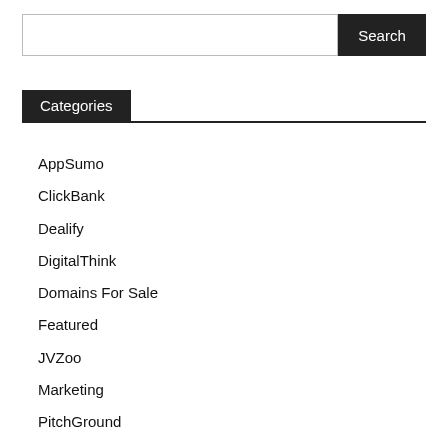Search
Categories
AppSumo
ClickBank
Dealify
DigitalThink
Domains For Sale
Featured
JVZoo
Marketing
PitchGround
SaaS Mantra
SaaSWiz